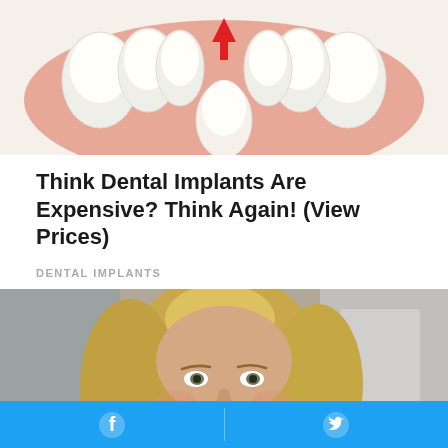[Figure (illustration): Dental illustration showing teeth and gums with a red upward arrow indicating a dental implant being inserted, viewed from below]
Think Dental Implants Are Expensive? Think Again! (View Prices)
DENTAL IMPLANTS
[Figure (photo): Photo of a smiling middle-aged blonde woman looking at the camera in a casual indoor setting]
Facebook share button and Twitter share button